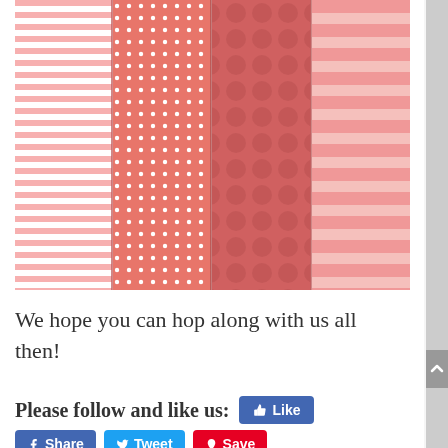[Figure (illustration): Four vertical panels of pink patterned paper: horizontal pink-and-white thin stripes, small white dots on darker pink, large circles/dots on medium pink, and wide horizontal light pink stripes.]
We hope you can hop along with us all then!
Please follow and like us: